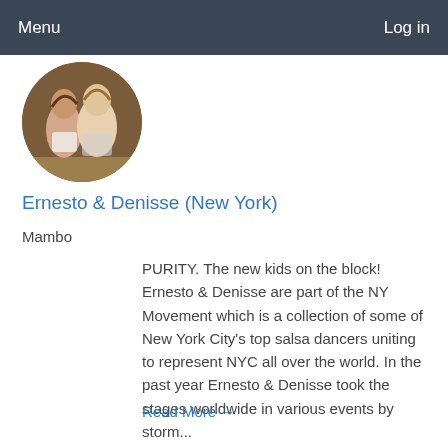Menu   Log in
[Figure (photo): Circular profile photo of Ernesto and Denisse, two salsa dancers posed together]
Ernesto & Denisse (New York)
Mambo
PURITY. The new kids on the block! Ernesto & Denisse are part of the NY Movement which is a collection of some of New York City's top salsa dancers uniting to represent NYC all over the world. In the past year Ernesto & Denisse took the stages worldwide in various events by storm...
Read More →